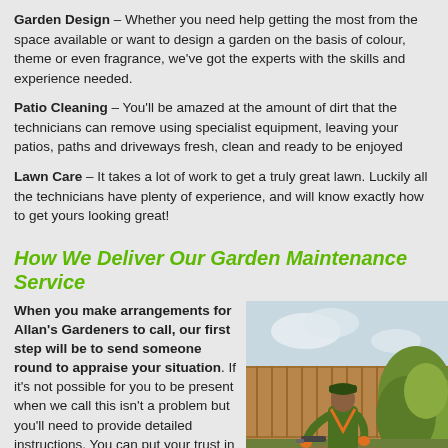Garden Design – Whether you need help getting the most from the space available or want to design a garden on the basis of colour, theme or even fragrance, we've got the experts with the skills and experience needed.
Patio Cleaning – You'll be amazed at the amount of dirt that the technicians can remove using specialist equipment, leaving your patios, paths and driveways fresh, clean and ready to be enjoyed
Lawn Care – It takes a lot of work to get a truly great lawn. Luckily all the technicians have plenty of experience, and will know exactly how to get yours looking great!
How We Deliver Our Garden Maintenance Service
When you make arrangements for Allan's Gardeners to call, our first step will be to send someone round to appraise your situation. If it's not possible for you to be present when we call this isn't a problem but you'll need to provide detailed instructions. You can put your trust in your friendly gardeners because we've explored their work history and performed all of the necessary checks. For your further peace of mind, we're a fully insured provider. We keep our garden care service ahead of the game by
[Figure (photo): A gardener in a green uniform working in an overgrown garden with shrubs and a wooden fence in the background, with a green logo visible in the lower right corner.]